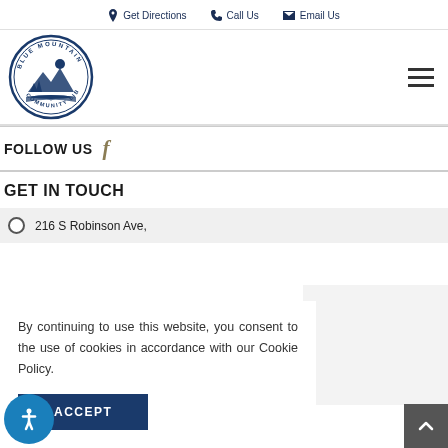Get Directions  Call Us  Email Us
[Figure (logo): Blue Mountain Community Library circular seal logo with blue illustration of trees, mountains and open book]
FOLLOW US
GET IN TOUCH
216 S Robinson Ave,
By continuing to use this website, you consent to the use of cookies in accordance with our Cookie Policy.
ACCEPT